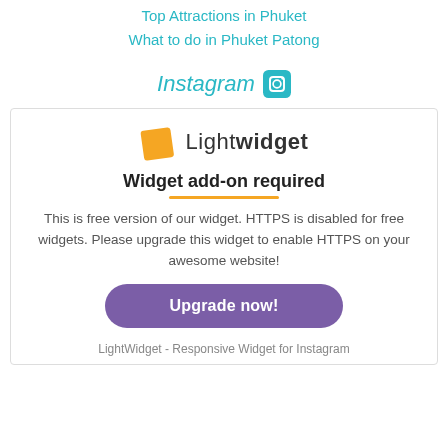Top Attractions in Phuket
What to do in Phuket Patong
Instagram
[Figure (other): LightWidget logo: orange square icon with 'Light' (light weight) and 'widget' (bold) text]
Widget add-on required
This is free version of our widget. HTTPS is disabled for free widgets. Please upgrade this widget to enable HTTPS on your awesome website!
Upgrade now!
LightWidget - Responsive Widget for Instagram